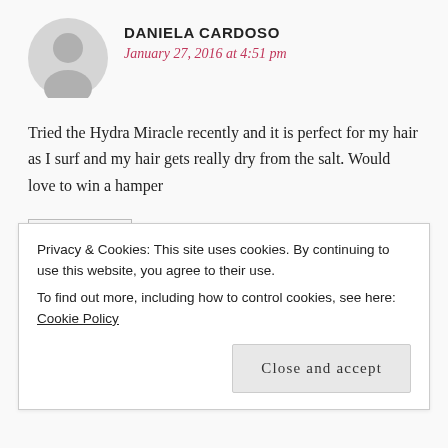[Figure (other): Grey circular user avatar silhouette]
DANIELA CARDOSO
January 27, 2016 at 4:51 pm
Tried the Hydra Miracle recently and it is perfect for my hair as I surf and my hair gets really dry from the salt. Would love to win a hamper
REPLY
[Figure (other): Grey circular user avatar silhouette for next commenter]
CATHY BADENHORST
Privacy & Cookies: This site uses cookies. By continuing to use this website, you agree to their use.
To find out more, including how to control cookies, see here: Cookie Policy
Close and accept